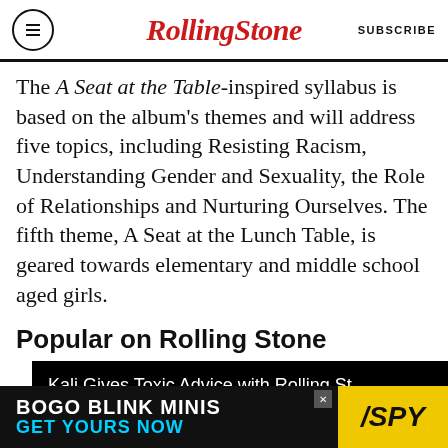RollingStone | SUBSCRIBE
The A Seat at the Table-inspired syllabus is based on the album's themes and will address five topics, including Resisting Racism, Understanding Gender and Sexuality, the Role of Relationships and Nurturing Ourselves. The fifth theme, A Seat at the Lunch Table, is geared towards elementary and middle school aged girls.
Popular on Rolling Stone
[Figure (screenshot): Video thumbnail with black background showing title 'Kali Gives Toxic Advice with Rolling St…' and a white play button triangle in the center]
[Figure (infographic): Advertisement banner: 'BOGO BLINK MINIS / GET YOURS NOW' with SPY logo on yellow background]